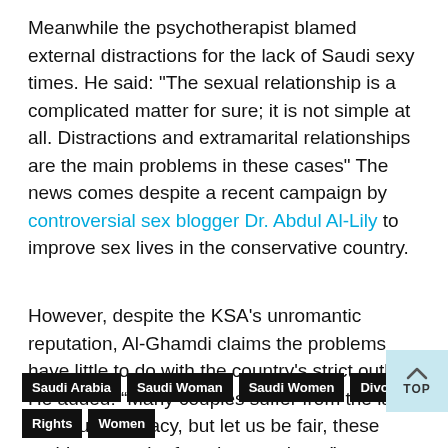Meanwhile the psychotherapist blamed external distractions for the lack of Saudi sexy times. He said: "The sexual relationship is a complicated matter for sure; it is not simple at all. Distractions and extramarital relationships are the main problems in these cases" The news comes despite a recent campaign by controversial sex blogger Dr. Abdul Al-Lily to improve sex lives in the conservative country.
However, despite the KSA's unromantic reputation, Al-Ghamdi claims the problems have little to do with the country's strict outlook. He added: “Many couples suffer from the lack of sexual intimacy, but let us be fair, these problems can be found everywhere."
Saudi Arabia
Saudi Woman
Saudi Women
Divorce
Sex
Rights
Women